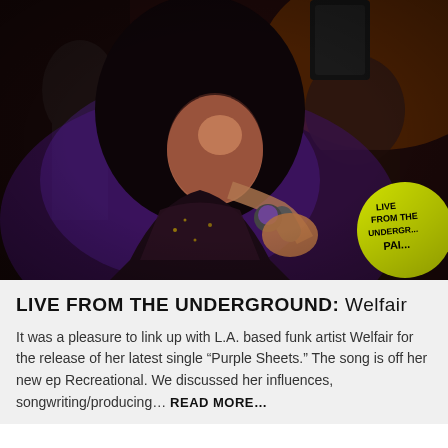[Figure (photo): A female singer performing live on stage, holding a microphone, with curly dark hair, wearing a sparkly outfit. Lit by purple/blue stage lighting. Other performers visible in background. A yellow circular logo in bottom-right reads 'LIVE FROM THE UNDERGROUND'.]
LIVE FROM THE UNDERGROUND: Welfair
It was a pleasure to link up with L.A. based funk artist Welfair for the release of her latest single “Purple Sheets.” The song is off her new ep Recreational. We discussed her influences, songwriting/producing… READ MORE…